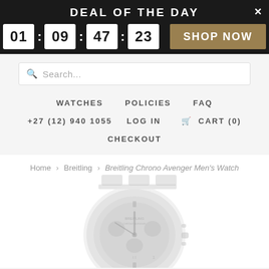DEAL OF THE DAY
01 : 09 : 47 : 23  SHOP NOW
Search...
WATCHES  POLICIES  FAQ
+27 (12) 940 1055  LOG IN  CART (0)
CHECKOUT
Home > Breitling > Breitling Chrono Avenger Men's Watch
[Figure (photo): Breitling Chrono Avenger Men's Watch product photo, showing the watch face and bracelet in light grey/white tones]